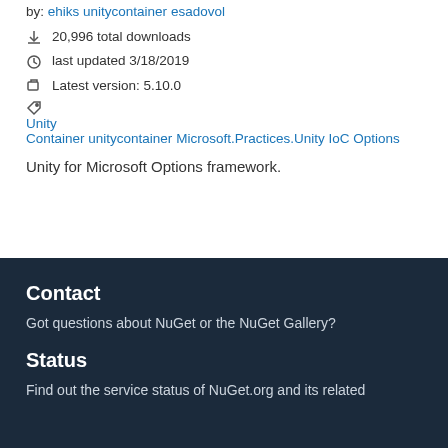by: ehiks unitycontainer esadovol
20,996 total downloads
last updated 3/18/2019
Latest version: 5.10.0
Unity Container unitycontainer Microsoft.Practices.Unity IoC Options
Unity for Microsoft Options framework.
Contact
Got questions about NuGet or the NuGet Gallery?
Status
Find out the service status of NuGet.org and its related